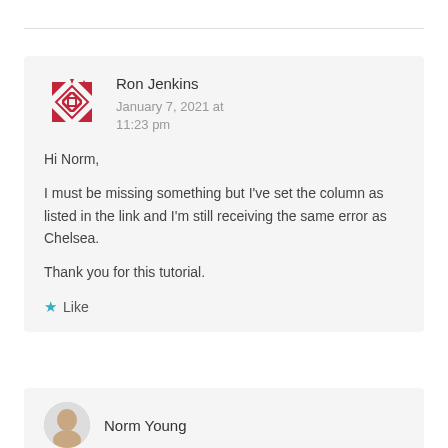Ron Jenkins
January 7, 2021 at 11:23 pm

Hi Norm,

I must be missing something but I've set the column as listed in the link and I'm still receiving the same error as Chelsea.

Thank you for this tutorial.

★ Like
Norm Young